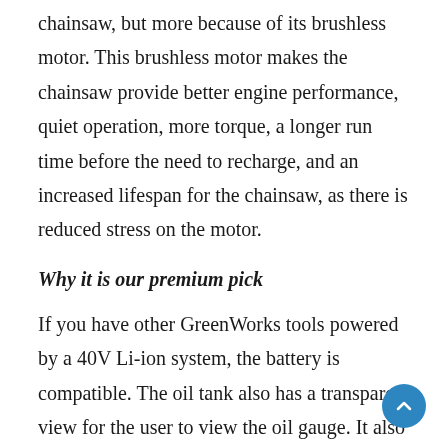chainsaw, but more because of its brushless motor. This brushless motor makes the chainsaw provide better engine performance, quiet operation, more torque, a longer run time before the need to recharge, and an increased lifespan for the chainsaw, as there is reduced stress on the motor.
Why it is our premium pick
If you have other GreenWorks tools powered by a 40V Li-ion system, the battery is compatible. The oil tank also has a transparent view for the user to view the oil gauge. It also has an automatic oiler that performs chain lubrication for efficient cuts and friction reduction. Besides, with the reduced stress on the motor, there is a whopping 70% reduction in vibration.